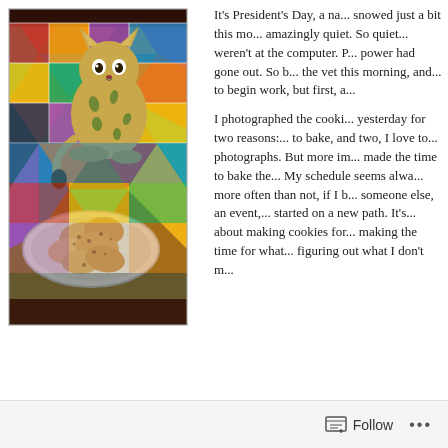[Figure (photo): A ceramic cat figurine with spotted yellow-green glaze sitting on a colorful patchwork quilt/placemat. In front of the cat is a rustic ceramic plate piled with oatmeal cookies or similar baked goods.]
It's President's Day, a na... snowed just a bit this mo... amazingly quiet. So quiet... weren't at the computer. P... power had gone out. So b... the vet this morning, and... to begin work, but first, a...

I photographed the cooki... yesterday for two reasons:... to bake, and two, I love to... photographs. But more im... made the time to bake the... My schedule seems alwa... more often than not, if I b... someone else, an event,... started on a new path. It's... about making cookies for... making the time for what... figuring out what I don't m...
time on at this moment, and making the change.
Follow ...